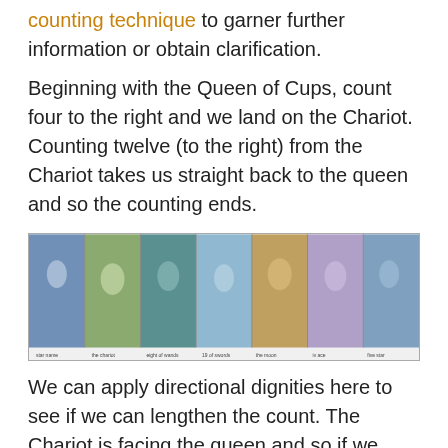counting technique to garner further information or obtain clarification.
Beginning with the Queen of Cups, count four to the right and we land on the Chariot. Counting twelve (to the right) from the Chariot takes us straight back to the queen and so the counting ends.
[Figure (illustration): A horizontal strip of seven tarot card illustrations in an artistic watercolor style, each card showing a different fantastical scene with fairies, figures, and nature imagery. Each card has a small label beneath it.]
We can apply directional dignities here to see if we can lengthen the count. The Chariot is facing the queen and so if we